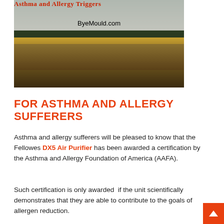[Figure (photo): Photograph of a wheat/grain field with treeline and overcast sky, with watermark text 'ByeMould.com' overlaid]
FOR ASTHMA AND ALLERGY SUFFERERS
Asthma and allergy sufferers will be pleased to know that the Fellowes DX5 Air Purifier has been awarded a certification by the Asthma and Allergy Foundation of America (AAFA).
Such certification is only awarded  if the unit scientifically demonstrates that they are able to contribute to the goals of allergen reduction.